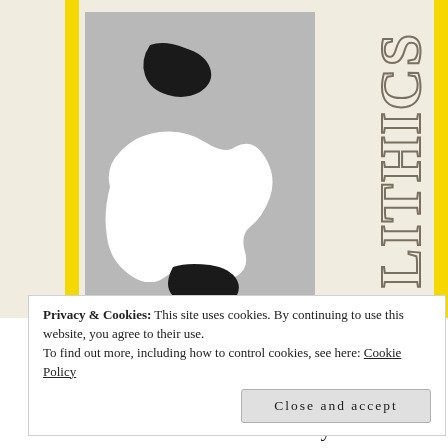[Figure (illustration): Book cover with yellow side borders, gray panel containing black and white abstract paint blobs, vertical outlined text reading 'LITHICS' on right side, and partial title 'TOWER OF ACE' visible at bottom.]
Privacy & Cookies: This site uses cookies. By continuing to use this website, you agree to their use.
To find out more, including how to control cookies, see here: Cookie Policy
Close and accept
disorder like American democracy.